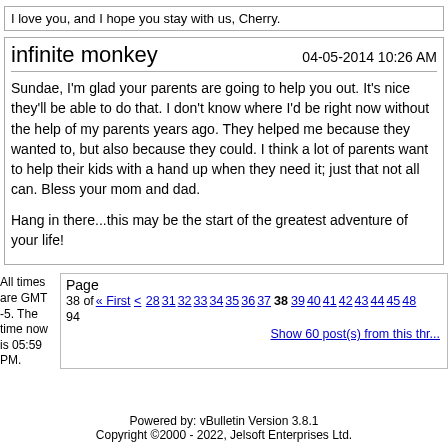I love you, and I hope you stay with us, Cherry.
infinite monkey    04-05-2014 10:26 AM
Sundae, I'm glad your parents are going to help you out. It's nice they'll be able to do that. I don't know where I'd be right now without the help of my parents years ago. They helped me because they wanted to, but also because they could. I think a lot of parents want to help their kids with a hand up when they need it; just that not all can. Bless your mom and dad.

Hang in there...this may be the start of the greatest adventure of your life!
All times are GMT -5. The time now is 05:59 PM.
Page 38 of « First < 28 31 32 33 34 35 36 37 38 39 40 41 42 43 44 45 48 94
Show 60 post(s) from this thr...
Powered by: vBulletin Version 3.8.1
Copyright ©2000 - 2022, Jelsoft Enterprises Ltd.